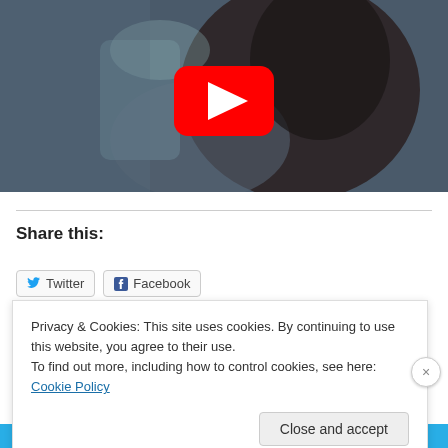[Figure (screenshot): YouTube video thumbnail showing a blurry person with dark hair, with a red YouTube play button overlay in the center]
Share this:
Twitter  Facebook
Privacy & Cookies: This site uses cookies. By continuing to use this website, you agree to their use.
To find out more, including how to control cookies, see here: Cookie Policy
Close and accept